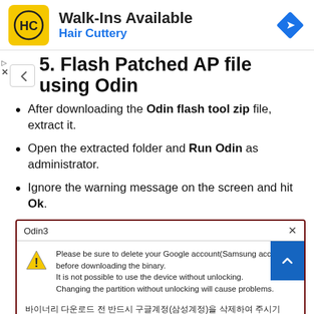[Figure (screenshot): Hair Cuttery advertisement banner with logo, 'Walk-Ins Available' title, and blue arrow icon]
5. Flash Patched AP file using Odin
After downloading the Odin flash tool zip file, extract it.
Open the extracted folder and Run Odin as administrator.
Ignore the warning message on the screen and hit Ok.
[Figure (screenshot): Odin3 dialog box with warning triangle icon showing text about deleting Google account before downloading binary, with Korean text below]